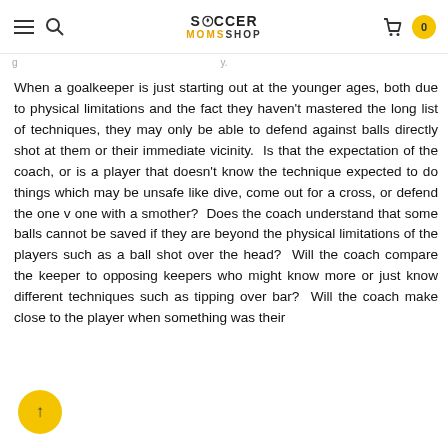Soccer Moms Shop — navigation header with hamburger, search, logo, cart (0)
When a goalkeeper is just starting out at the younger ages, both due to physical limitations and the fact they haven't mastered the long list of techniques, they may only be able to defend against balls directly shot at them or their immediate vicinity.  Is that the expectation of the coach, or is a player that doesn't know the technique expected to do things which may be unsafe like dive, come out for a cross, or defend the one v one with a smother?  Does the coach understand that some balls cannot be saved if they are beyond the physical limitations of the players such as a ball shot over the head?  Will the coach compare the keeper to opposing keepers who might know more or just know different techniques such as tipping over bar?  Will the coach make close to the player when something was their